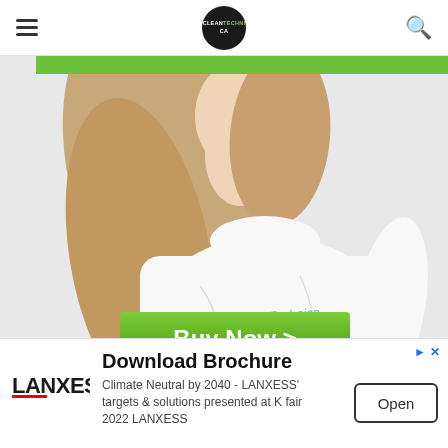CleanTechnica navigation header with hamburger menu and search
[Figure (photo): Woman with long blonde hair wearing a white t-shirt with CleanTechnica logo printed on it, against a light textured wall. Green bar at the top and a green 'Buy Now >' button at the bottom of the image area.]
[Figure (infographic): Advertisement banner for LANXESS showing 'Download Brochure' headline, LANXESS logo, text about Climate Neutral by 2040 targets and solutions at K fair 2022, and an Open button.]